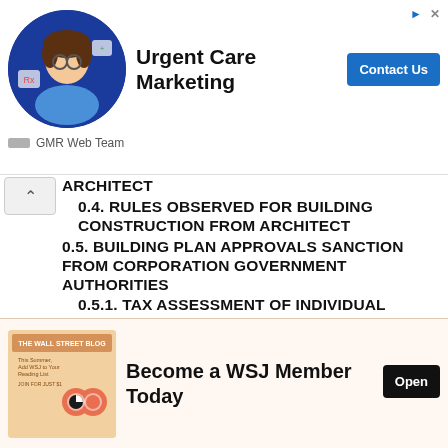[Figure (screenshot): Top advertisement banner for Urgent Care Marketing by GMR Web Team, with a circular avatar photo, bold title, and Contact Us button.]
ARCHITECT
0.4. RULES OBSERVED FOR BUILDING CONSTRUCTION FROM ARCHITECT
0.5. BUILDING PLAN APPROVALS SANCTION FROM CORPORATION GOVERNMENT AUTHORITIES
0.5.1. TAX ASSESSMENT OF INDIVIDUAL BUILDING FLAT
0.5.2. BUILDING ELECTRICITY SUPPLY AND ITS FORMALITIES
0.5.3. SALE-DEED OR CONVEYANCE DEED
[Figure (screenshot): Bottom advertisement banner: Become a WSJ Member Today, with Open button and WSJ illustration.]